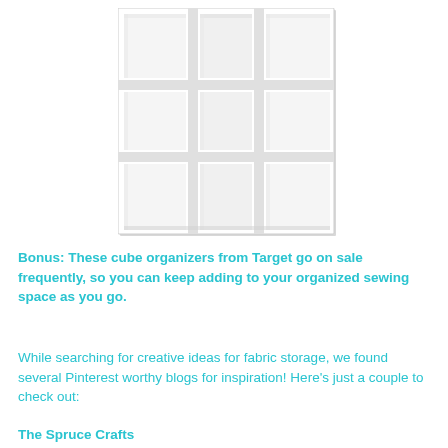[Figure (photo): A white 3x3 cube organizer bookshelf with 9 open compartments, shown against a white background. The unit has a clean, modern design with visible depth in each cube.]
Bonus: These cube organizers from Target go on sale frequently, so you can keep adding to your organized sewing space as you go.
While searching for creative ideas for fabric storage, we found several Pinterest worthy blogs for inspiration! Here's just a couple to check out:
The Spruce Crafts